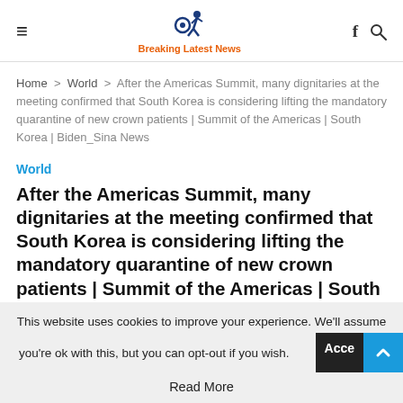Breaking Latest News
Home > World > After the Americas Summit, many dignitaries at the meeting confirmed that South Korea is considering lifting the mandatory quarantine of new crown patients | Summit of the Americas | South Korea | Biden_Sina News
World
After the Americas Summit, many dignitaries at the meeting confirmed that South Korea is considering lifting the mandatory quarantine of new crown patients | Summit of the Americas | South Korea | Biden_Sina News
June 14, 2022
This website uses cookies to improve your experience. We'll assume you're ok with this, but you can opt-out if you wish. Accept Read More